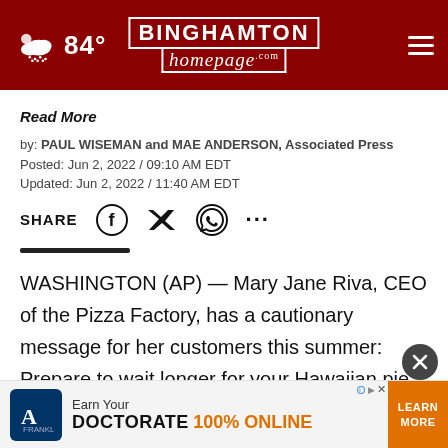84° Binghamton Homepage
Read More
by: PAUL WISEMAN and MAE ANDERSON, Associated Press
Posted: Jun 2, 2022 / 09:10 AM EDT
Updated: Jun 2, 2022 / 11:40 AM EDT
SHARE
WASHINGTON (AP) — Mary Jane Riva, CEO of the Pizza Factory, has a cautionary message for her customers this summer: Prepare to wait longer for your Hawaiian pie or calzone.
The P... desperately sh... 12